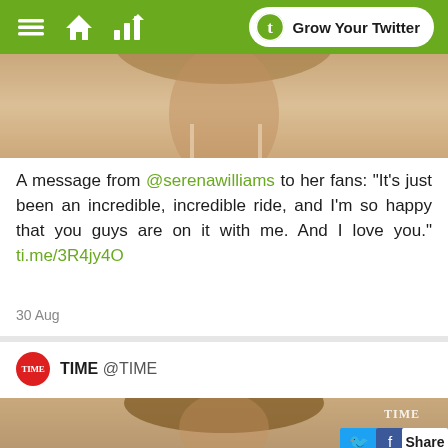Grow Your Twitter
[Figure (photo): Partial photo of a person, cropped showing neck/shoulder area]
A message from @serenawilliams to her fans: “It’s just been an incredible, incredible ride, and I’m so happy that you guys are on it with me. And I love you.” ti.me/3R4jy4O
30 Aug
TIME @TIME
[Figure (photo): Video thumbnail of Serena Williams smiling with TIME watermark and play button overlay]